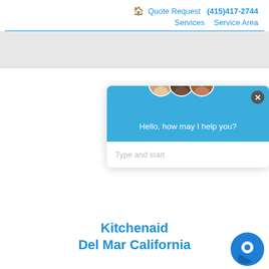🏠 Quote Request (415)417-2744 Services Service Area
[Figure (screenshot): Chat popup widget with three agent avatars, blue header saying 'Hello, how may I help you?' and text input 'Type and start']
Kitchenaid ... Del Mar California